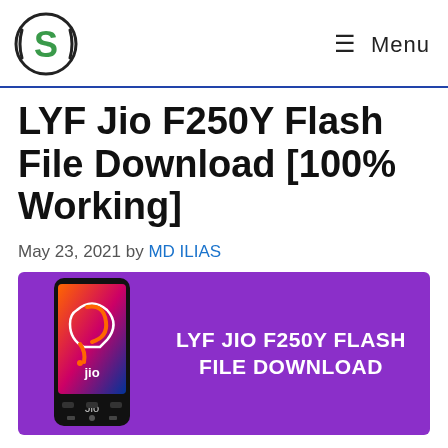S [logo] ≡ Menu
LYF Jio F250Y Flash File Download [100% Working]
May 23, 2021 by MD ILIAS
[Figure (photo): Promotional image with purple background showing a Jio F250Y feature phone on the left and bold white text 'LYF JIO F250Y FLASH FILE DOWNLOAD' on the right]